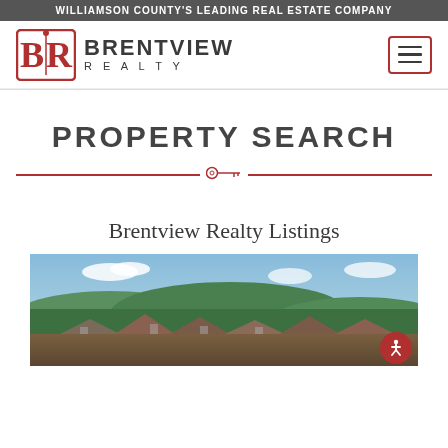WILLIAMSON COUNTY'S LEADING REAL ESTATE COMPANY
[Figure (logo): Brentview Realty logo with stylized BR monogram in red and company name in dark grey]
PROPERTY SEARCH
Brentview Realty Listings
[Figure (photo): Aerial/elevated view of residential neighborhood homes with green trees and hills in background under blue sky]